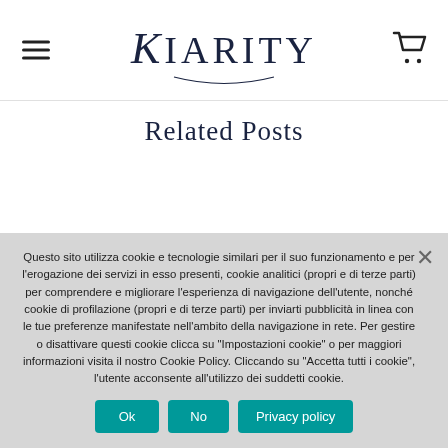Kiarity (logo with hamburger menu and cart icon)
Related Posts
Questo sito utilizza cookie e tecnologie similari per il suo funzionamento e per l'erogazione dei servizi in esso presenti, cookie analitici (propri e di terze parti) per comprendere e migliorare l'esperienza di navigazione dell'utente, nonché cookie di profilazione (propri e di terze parti) per inviarti pubblicità in linea con le tue preferenze manifestate nell'ambito della navigazione in rete. Per gestire o disattivare questi cookie clicca su "Impostazioni cookie" o per maggiori informazioni visita il nostro Cookie Policy. Cliccando su "Accetta tutti i cookie", l'utente acconsente all'utilizzo dei suddetti cookie.
Ok
No
Privacy policy